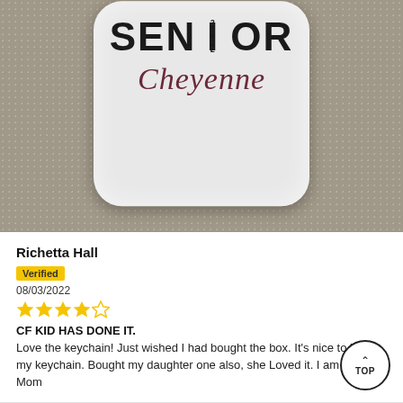[Figure (photo): A white rounded-square button/keychain with 'SENIOR 2022 Cheyenne' text printed on it, resting on a metallic dotted/beaded background surface.]
Richetta Hall
Verified
08/03/2022
★★★★☆ (4 out of 5 stars)
CF KID HAS DONE IT.
Love the keychain! Just wished I had bought the box. It's nice to be on my keychain. Bought my daughter one also, she Loved it. I am a Happy Mom